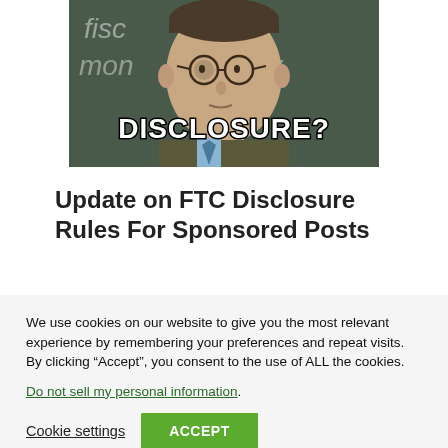[Figure (photo): Meme image of a man with glasses in front of a chalkboard with 'DISCLOSURE?' text overlaid in bold white letters]
Update on FTC Disclosure Rules For Sponsored Posts
We use cookies on our website to give you the most relevant experience by remembering your preferences and repeat visits. By clicking “Accept”, you consent to the use of ALL the cookies.
Do not sell my personal information.
Cookie settings   ACCEPT